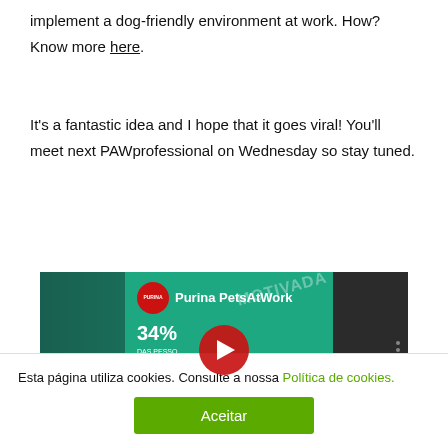implement a dog-friendly environment at work. How? Know more here.
It's a fantastic idea and I hope that it goes viral! You'll meet next PAWprofessional on Wednesday so stay tuned.
[Figure (screenshot): YouTube video thumbnail for Purina PetsAtWork showing 34% statistic on a teal background with a red play button overlay]
Esta página utiliza cookies. Consulte a nossa Política de cookies.